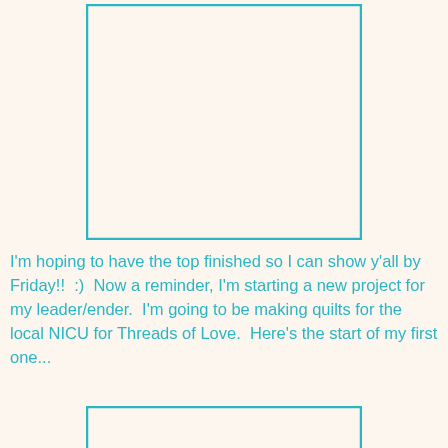[Figure (other): A large rectangular placeholder/image box with a teal border on a cream background, positioned in the upper portion of the page.]
I'm hoping to have the top finished so I can show y'all by Friday!!  :)  Now a reminder, I'm starting a new project for my leader/ender.  I'm going to be making quilts for the local NICU for Threads of Love.  Here's the start of my first one...
[Figure (other): A partial rectangular placeholder/image box with a teal border, cut off at the bottom of the page.]